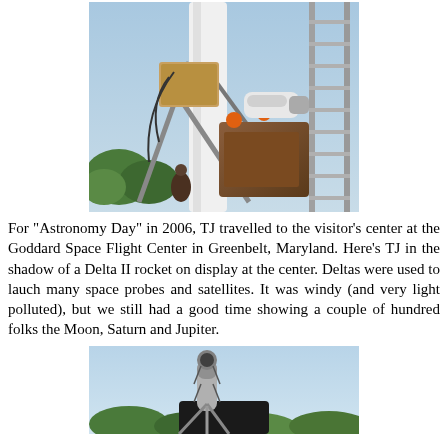[Figure (photo): Close-up photograph of a telescope and equipment mounted on a Delta II rocket display at Goddard Space Flight Center, with a blue sky and ladder visible in the background.]
For "Astronomy Day" in 2006, TJ travelled to the visitor's center at the Goddard Space Flight Center in Greenbelt, Maryland. Here's TJ in the shadow of a Delta II rocket on display at the center. Deltas were used to lauch many space probes and satellites. It was windy (and very light polluted), but we still had a good time showing a couple of hundred folks the Moon, Saturn and Jupiter.
[Figure (photo): Partial photograph of a telescope finderscope or small telescope component against a light blue sky with trees in the background.]